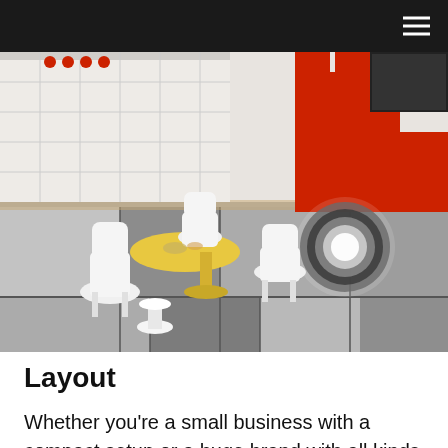[Figure (photo): Exhibition space interior showing white modernist chairs around a yellow tulip-style table on a grey patchwork rug, with large red Lego-like brick structures and a circular glowing light fixture in the background against a white wall.]
Layout
Whether you’re a small business with a compact setup or a huge brand with all kinds of products on display, the layout of your exhibition space is very